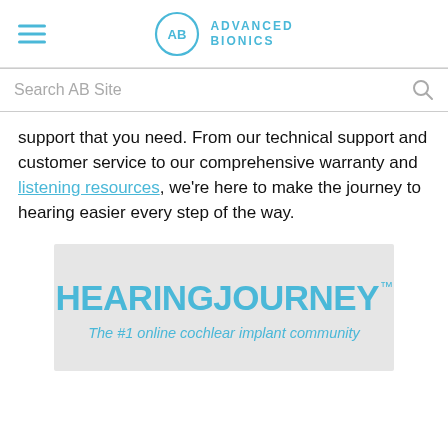Advanced Bionics
Search AB Site
support that you need. From our technical support and customer service to our comprehensive warranty and listening resources, we're here to make the journey to hearing easier every step of the way.
[Figure (logo): HearingJourney logo with tagline 'The #1 online cochlear implant community' on a light gray background]